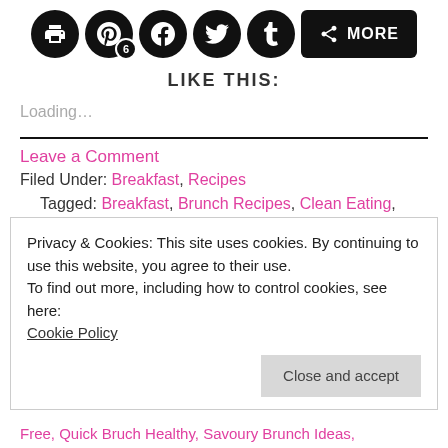[Figure (infographic): Social sharing buttons row: print, Pinterest (6), Facebook, Twitter, Tumblr, and a More button]
LIKE THIS:
Loading...
Leave a Comment
Filed Under: Breakfast, Recipes
Tagged: Breakfast, Brunch Recipes, Clean Eating, Cooked Breakfast Healthy, Cooked Breakfast Ideas, Cooked Breakfast Recipes, Cupful of Sprinkles, Dairy Free, Family Friendly Food, Gluten Free, Gluten Free Living, Healthy...
Privacy & Cookies: This site uses cookies. By continuing to use this website, you agree to their use.
To find out more, including how to control cookies, see here: Cookie Policy
Free, Quick Bruch Healthy, Savoury Brunch Ideas,